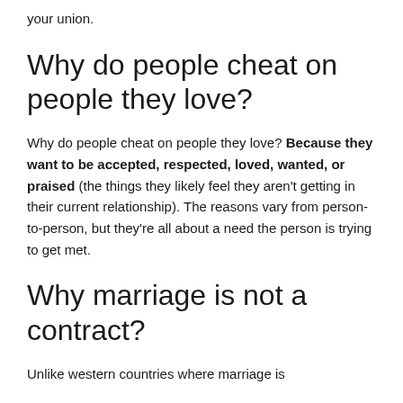your union.
Why do people cheat on people they love?
Why do people cheat on people they love? Because they want to be accepted, respected, loved, wanted, or praised (the things they likely feel they aren't getting in their current relationship). The reasons vary from person-to-person, but they're all about a need the person is trying to get met.
Why marriage is not a contract?
Unlike western countries where marriage is